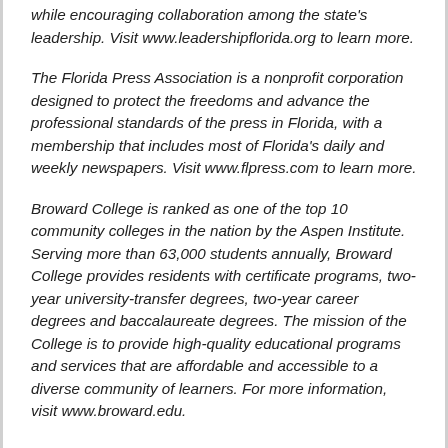while encouraging collaboration among the state's leadership. Visit www.leadershipflorida.org to learn more.
The Florida Press Association is a nonprofit corporation designed to protect the freedoms and advance the professional standards of the press in Florida, with a membership that includes most of Florida's daily and weekly newspapers. Visit www.flpress.com to learn more.
Broward College is ranked as one of the top 10 community colleges in the nation by the Aspen Institute. Serving more than 63,000 students annually, Broward College provides residents with certificate programs, two-year university-transfer degrees, two-year career degrees and baccalaureate degrees. The mission of the College is to provide high-quality educational programs and services that are affordable and accessible to a diverse community of learners. For more information, visit www.broward.edu.